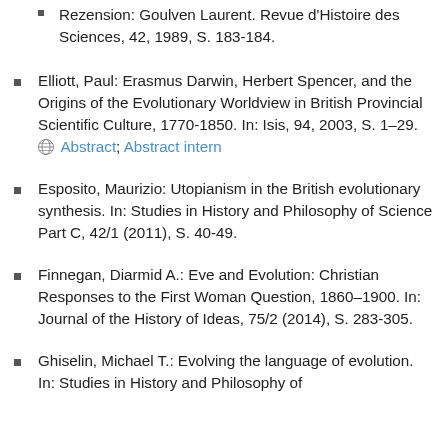Rezension: Goulven Laurent. Revue d'Histoire des Sciences, 42, 1989, S. 183-184.
Elliott, Paul: Erasmus Darwin, Herbert Spencer, and the Origins of the Evolutionary Worldview in British Provincial Scientific Culture, 1770-1850. In: Isis, 94, 2003, S. 1–29. Abstract; Abstract intern
Esposito, Maurizio: Utopianism in the British evolutionary synthesis. In: Studies in History and Philosophy of Science Part C, 42/1 (2011), S. 40-49.
Finnegan, Diarmid A.: Eve and Evolution: Christian Responses to the First Woman Question, 1860–1900. In: Journal of the History of Ideas, 75/2 (2014), S. 283-305.
Ghiselin, Michael T.: Evolving the language of evolution. In: Studies in History and Philosophy of